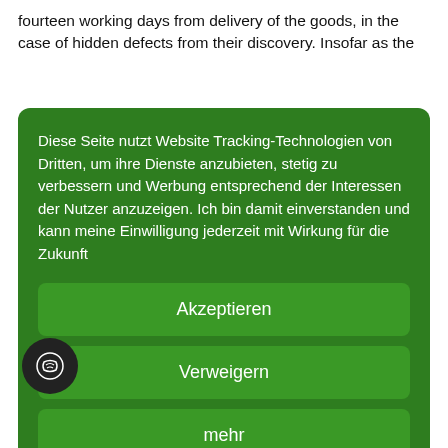fourteen working days from delivery of the goods, in the case of hidden defects from their discovery. Insofar as the
Diese Seite nutzt Website Tracking-Technologien von Dritten, um ihre Dienste anzubieten, stetig zu verbessern und Werbung entsprechend der Interessen der Nutzer anzuzeigen. Ich bin damit einverstanden und kann meine Einwilligung jederzeit mit Wirkung für die Zukunft
Akzeptieren
Verweigern
mehr
Powered by usercentrics
Impressum | Datenschutz
visions; Sections 478 and 479 of the German Civil Code (BGB) apply, Section 476 applies mutatis mutandis. We are entitled, at our discretion, to demand elimination